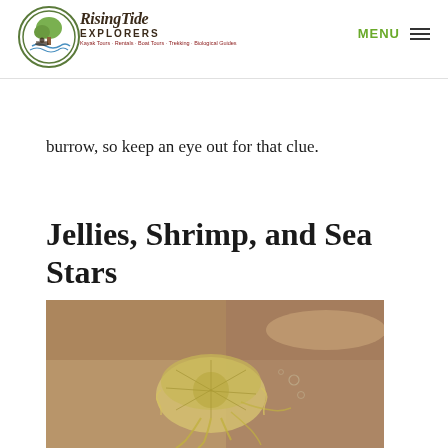Rising Tide Explorers — MENU
the fiddle. Fiddler crabs live in burrows in the they eat they roll their leftovers into a ball and push it out of the burrow, so keep an eye out for that clue.
Jellies, Shrimp, and Sea Stars
[Figure (photo): A jellyfish floating near the water surface, yellowish-gold color with frilly tentacles visible, in brownish water]